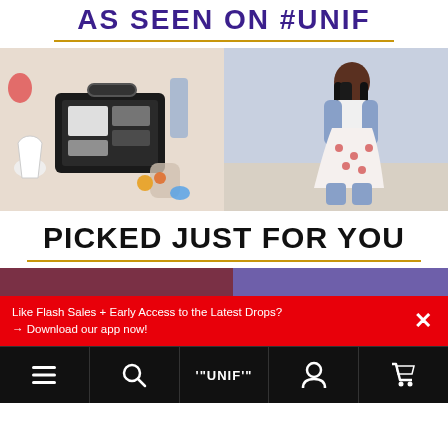AS SEEN ON #UNIF
[Figure (photo): Two photos side by side: left shows a flat lay of a packed suitcase with clothing items and colorful accessories spread around it; right shows a woman with long black hair sitting outdoors wearing a floral skirt and blue fuzzy cardigan.]
PICKED JUST FOR YOU
Like Flash Sales + Early Access to the Latest Drops?
→ Download our app now!
Navigation bar with hamburger menu, search, UNIF logo, user icon, and cart icon